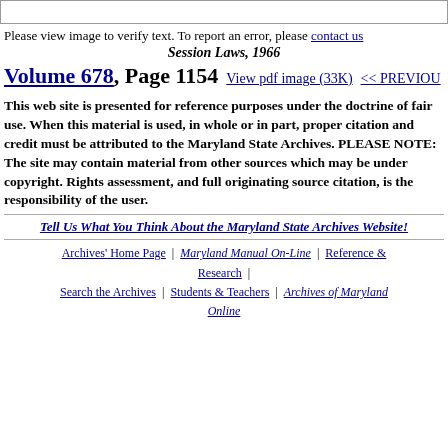Please view image to verify text. To report an error, please contact us
Session Laws, 1966
Volume 678, Page 1154   View pdf image (33K)   << PREVIOUS
This web site is presented for reference purposes under the doctrine of fair use. When this material is used, in whole or in part, proper citation and credit must be attributed to the Maryland State Archives. PLEASE NOTE: The site may contain material from other sources which may be under copyright. Rights assessment, and full originating source citation, is the responsibility of the user.
Tell Us What You Think About the Maryland State Archives Website!
Archives' Home Page | Maryland Manual On-Line | Reference & Research | Search the Archives | Students & Teachers | Archives of Maryland Online